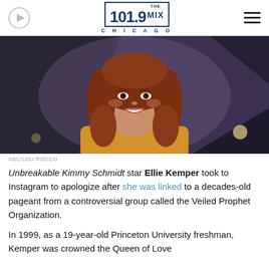101.9 THE MIX CHICAGO
[Figure (photo): Smiling woman with auburn wavy hair wearing a yellow top, photographed on a TV show set with dark background]
ABC/LOU ROCCO
Unbreakable Kimmy Schmidt star Ellie Kemper took to Instagram to apologize after she was linked to a decades-old pageant from a controversial group called the Veiled Prophet Organization.
In 1999, as a 19-year-old Princeton University freshman, Kemper was crowned the Queen of Love